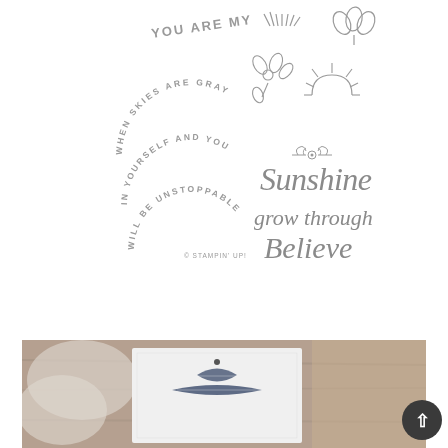[Figure (illustration): Stamp set preview showing various rubber stamps: circular arc text stamps reading 'WHEN SKIES ARE GRAY', 'IN YOURSELF AND YOU', 'WILL BE UNSTOPPABLE'; straight text 'YOU ARE MY'; script words 'Sunshine', 'grow through', 'Believe'; decorative icons including sunburst/rays, botanical sprig, flower cluster, sunrise/sun rays, floral flourish ornament. Copyright '© STAMPIN' UP!' at bottom.]
[Figure (photo): Close-up photograph of a white card with embossing and a gingham ribbon, resting on a wooden surface with fabric or wrapping in the background.]